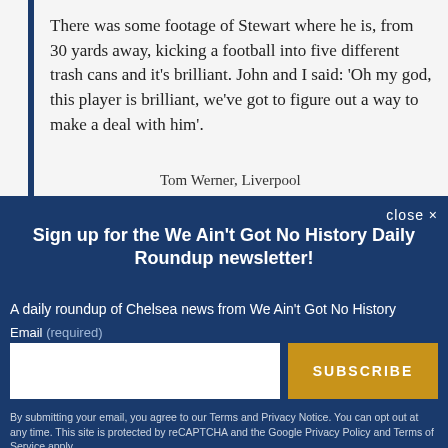There was some footage of Stewart where he is, from 30 yards away, kicking a football into five different trash cans and it's brilliant. John and I said: 'Oh my god, this player is brilliant, we've got to figure out a way to make a deal with him'.
Tom Werner, Liverpool
close ✕
Sign up for the We Ain't Got No History Daily Roundup newsletter!
A daily roundup of Chelsea news from We Ain't Got No History
Email (required)
SUBSCRIBE
By submitting your email, you agree to our Terms and Privacy Notice. You can opt out at any time. This site is protected by reCAPTCHA and the Google Privacy Policy and Terms of Service apply.